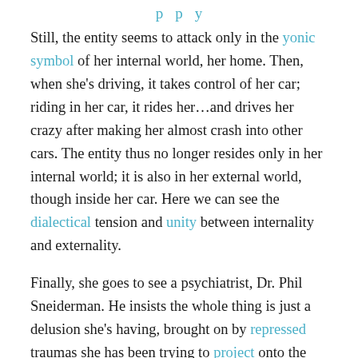…p p y
Still, the entity seems to attack only in the yonic symbol of her internal world, her home. Then, when she's driving, it takes control of her car; riding in her car, it rides her…and drives her crazy after making her almost crash into other cars. The entity thus no longer resides only in her internal world; it is also in her external world, though inside her car. Here we can see the dialectical tension and unity between internality and externality.
Finally, she goes to see a psychiatrist, Dr. Phil Sneiderman. He insists the whole thing is just a delusion she's having, brought on by repressed traumas she has been trying to project onto the external world. Still, she can't imagine how she's been able to cause certain of